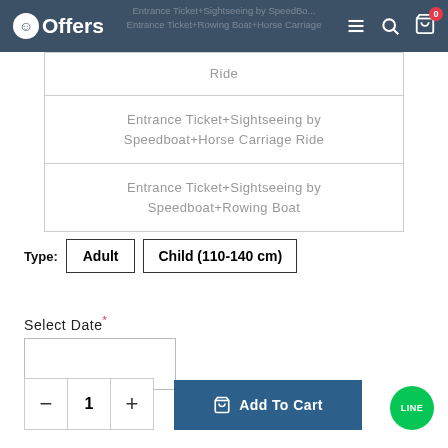eOffers — menu, search, cart
| Ride |
| Entrance Ticket+Sightseeing by Speedboat+Horse Carriage Ride |
| Entrance Ticket+Sightseeing by Speedboat+Rowing Boat |
Type: Adult  Child (110-140cm)
Select Date*
1
Add To Cart